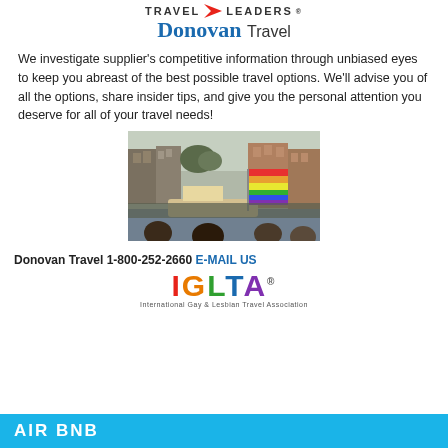[Figure (logo): Travel Leaders / Donovan Travel logo with red arrow graphic and blue serif text]
We investigate supplier's competitive information through unbiased eyes to keep you abreast of the best possible travel options. We'll advise you of all the options, share insider tips, and give you the personal attention you deserve for all of your travel needs!
[Figure (photo): Amsterdam canal Pride parade scene with rainbow flag, decorated float, and crowd of onlookers along canal]
Donovan Travel 1-800-252-2660 E-MAIL US
[Figure (logo): IGLTA - International Gay & Lesbian Travel Association logo with multicolor letters]
AIR BNB